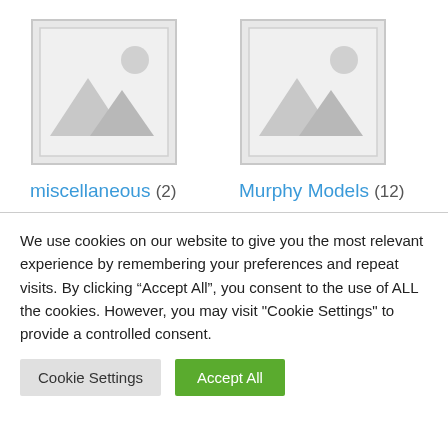[Figure (illustration): Placeholder image icon for miscellaneous category — grey square with mountain and sun silhouette]
[Figure (illustration): Placeholder image icon for Murphy Models category — grey square with mountain and sun silhouette]
miscellaneous (2)
Murphy Models (12)
We use cookies on our website to give you the most relevant experience by remembering your preferences and repeat visits. By clicking “Accept All”, you consent to the use of ALL the cookies. However, you may visit "Cookie Settings" to provide a controlled consent.
Cookie Settings
Accept All